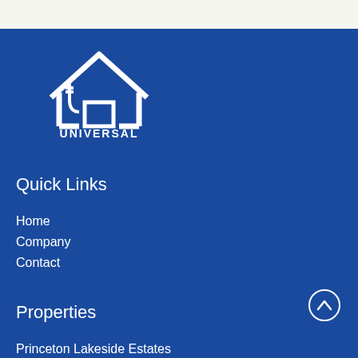[Figure (logo): Universal Real Estate logo — white house icon with plug/cord and text UNIVERSAL REAL ESTATE on dark blue background]
Quick Links
Home
Company
Contact
Properties
Princeton Lakeside Estates